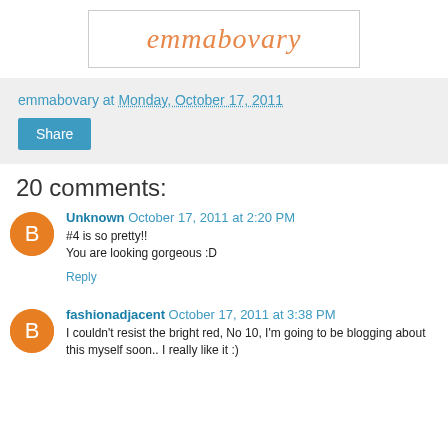[Figure (logo): emmabovary logo in orange italic script inside a white box with thin border]
emmabovary at Monday, October 17, 2011
Share
20 comments:
Unknown October 17, 2011 at 2:20 PM
#4 is so pretty!!
You are looking gorgeous :D
Reply
fashionadjacent October 17, 2011 at 3:38 PM
I couldn't resist the bright red, No 10, I'm going to be blogging about this myself soon.. I really like it :)